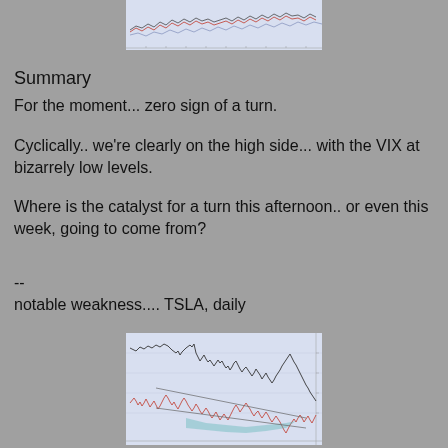[Figure (continuous-plot): Financial line chart at top of page, showing multiple overlapping line series on a light blue background with axis ticks along bottom]
Summary
For the moment... zero sign of a turn.
Cyclically.. we're clearly on the high side... with the VIX at bizarrely low levels.
Where is the catalyst for a turn this afternoon.. or even this week, going to come from?
--
notable weakness.... TSLA, daily
[Figure (continuous-plot): TSLA daily stock chart showing price line, volume, moving averages, trendlines and a teal shaded triangle/wedge pattern on light blue background]